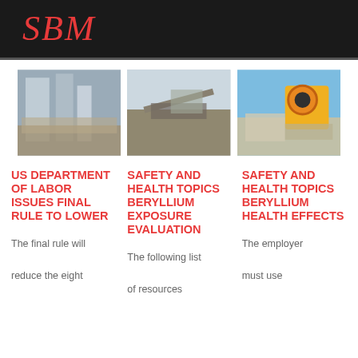SBM
[Figure (photo): Industrial facility with silos and machinery]
[Figure (photo): Mining conveyor belt equipment in open field]
[Figure (photo): Yellow jaw crusher machine outdoors]
US DEPARTMENT OF LABOR ISSUES FINAL RULE TO LOWER
SAFETY AND HEALTH TOPICS BERYLLIUM EXPOSURE EVALUATION
SAFETY AND HEALTH TOPICS BERYLLIUM HEALTH EFFECTS
The final rule will reduce the eight
The following list of resources
The employer must use